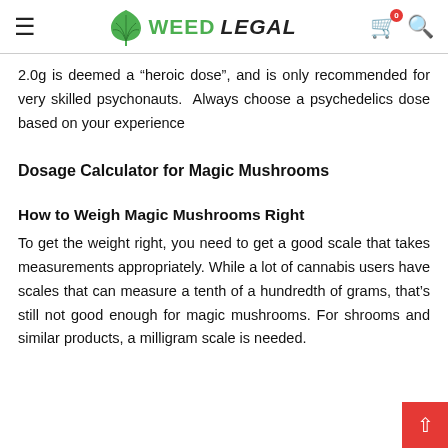WEED LEGAL (navigation header with logo, hamburger menu, cart, and search icons)
2.0g is deemed a "heroic dose", and is only recommended for very skilled psychonauts.  Always choose a psychedelics dose based on your experience
Dosage Calculator for Magic Mushrooms
How to Weigh Magic Mushrooms Right
To get the weight right, you need to get a good scale that takes measurements appropriately. While a lot of cannabis users have scales that can measure a tenth of a hundredth of grams, that's still not good enough for magic mushrooms. For shrooms and similar products, a milligram scale is needed.